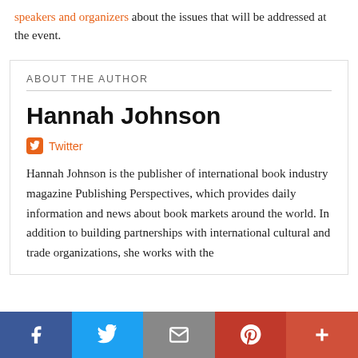speakers and organizers about the issues that will be addressed at the event.
ABOUT THE AUTHOR
Hannah Johnson
Twitter
Hannah Johnson is the publisher of international book industry magazine Publishing Perspectives, which provides daily information and news about book markets around the world. In addition to building partnerships with international cultural and trade organizations, she works with the